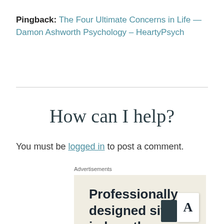Pingback: The Four Ultimate Concerns in Life — Damon Ashworth Psychology – HeartyPsych
How can I help?
You must be logged in to post a comment.
Advertisements
[Figure (illustration): Advertisement banner with beige background showing text 'Professionally designed sites in less than a week' and decorative card icons in the bottom right corner.]